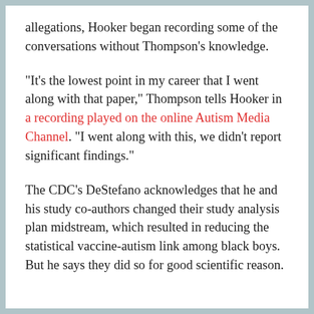allegations, Hooker began recording some of the conversations without Thompson's knowledge.
"It's the lowest point in my career that I went along with that paper," Thompson tells Hooker in a recording played on the online Autism Media Channel. "I went along with this, we didn't report significant findings."
The CDC's DeStefano acknowledges that he and his study co-authors changed their study analysis plan midstream, which resulted in reducing the statistical vaccine-autism link among black boys. But he says they did so for good scientific reason.